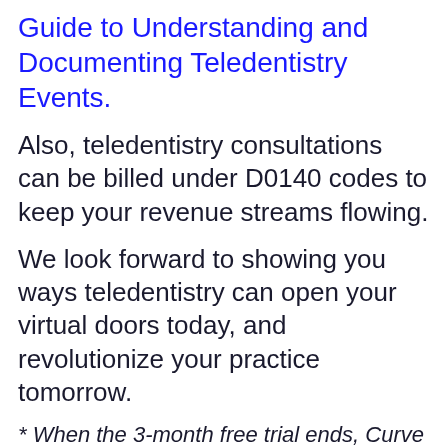Guide to Understanding and Documenting Teledentistry Events.
Also, teledentistry consultations can be billed under D0140 codes to keep your revenue streams flowing.
We look forward to showing you ways teledentistry can open your virtual doors today, and revolutionize your practice tomorrow.
* When the 3-month free trial ends, Curve